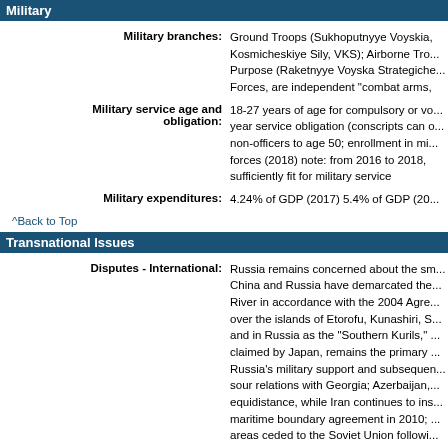Military
Military branches: Ground Troops (Sukhoputnyye Voyskia, Kosmicheskiye Sily, VKS); Airborne Troops; Strategic Purpose (Raketnyye Voyska Strategiche Forces, are independent "combat arms,
Military service age and obligation: 18-27 years of age for compulsory or voluntary military service; year service obligation (conscripts can opt out); non-officers to age 50; enrollment in military forces (2018) note: from 2016 to 2018, sufficiently fit for military service
Military expenditures: 4.24% of GDP (2017) 5.4% of GDP (20...
^Back to Top
Transnational Issues
Disputes - International: Russia remains concerned about the sm... China and Russia have demarcated the... River in accordance with the 2004 Agre... over the islands of Etorofu, Kunashiri, S... and in Russia as the "Southern Kurils," ... claimed by Japan, remains the primary ... Russia's military support and subsequen... sour relations with Georgia; Azerbaijan,... equidistance, while Iran continues to ins... maritime boundary agreement in 2010;... areas ceded to the Soviet Union followi... Russia and Estonia signed a technical b... after the Estonian parliament added to i... occupation and Estonia's pre-war borde... Estonia to make territorial claims on Ru...